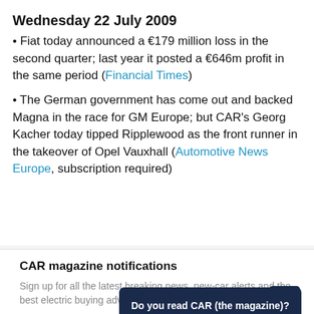Wednesday 22 July 2009
Fiat today announced a €179 million loss in the second quarter; last year it posted a €646m profit in the same period (Financial Times)
The German government has come out and backed Magna in the race for GM Europe; but CAR's Georg Kacher today tipped Ripplewood as the front runner in the takeover of Opel Vauxhall (Automotive News Europe, subscription required)
CAR magazine notifications
Sign up for all the latest breaking news, new-car alerts and the best electric buying advice
Do you read CAR (the magazine)?
Reply